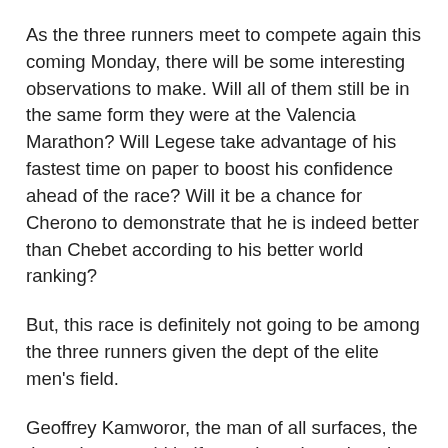As the three runners meet to compete again this coming Monday, there will be some interesting observations to make. Will all of them still be in the same form they were at the Valencia Marathon? Will Legese take advantage of his fastest time on paper to boost his confidence ahead of the race? Will it be a chance for Cherono to demonstrate that he is indeed better than Chebet according to his better world ranking?
But, this race is definitely not going to be among the three runners given the dept of the elite men's field.
Geoffrey Kamworor, the man of all surfaces, the three-times world half marathon champion, the two times world senior cross country champion, and the 2017 New York City Marathon champion will also be on the starting line.
Lelisa Desisa, the 2019 world marathon champion, 2018